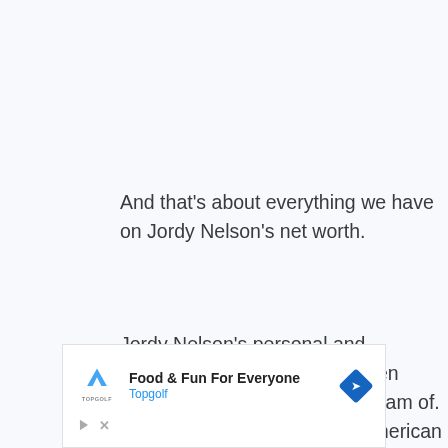And that’s about everything we have on Jordy Nelson’s net worth.
Jordy Nelson’s personal and professional life is one that even common people could only dream of. Not only is his career as an American football wide receiver sterling, but he also lives a personal life with Emily Nelson and their family that may be close to many people’s idea of a perfect life.
[Figure (other): Advertisement banner for Topgolf: 'Food & Fun For Everyone' with Topgolf logo and a blue navigation arrow icon.]